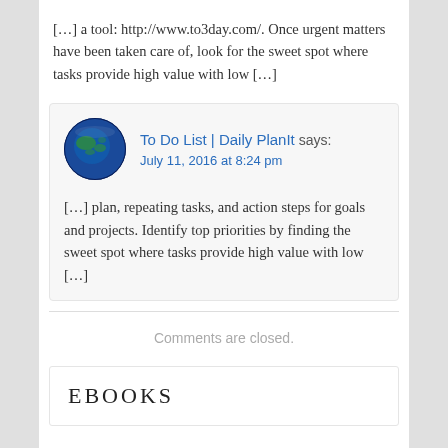[…] a tool: http://www.to3day.com/. Once urgent matters have been taken care of, look for the sweet spot where tasks provide high value with low […]
[Figure (photo): Round avatar image showing a globe/earth photo]
To Do List | Daily PlanIt says: July 11, 2016 at 8:24 pm
[…] plan, repeating tasks, and action steps for goals and projects. Identify top priorities by finding the sweet spot where tasks provide high value with low […]
Comments are closed.
eBooks